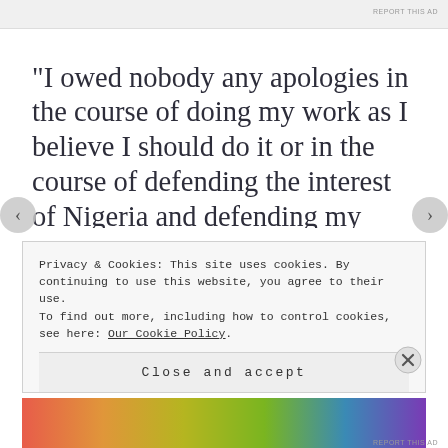REPORT THIS AD
“I owed nobody any apologies in the course of doing my work as I believe I should do it or in the course of defending the interest of Nigeria and defending my integrity.  As I could not open the treasury for S. O. Bakare for your so-called political support to me, I did not regard that as an offence.  To the extent that I believed
Privacy & Cookies: This site uses cookies. By continuing to use this website, you agree to their use.
To find out more, including how to control cookies, see here: Our Cookie Policy
Close and accept
REPORT THIS AD